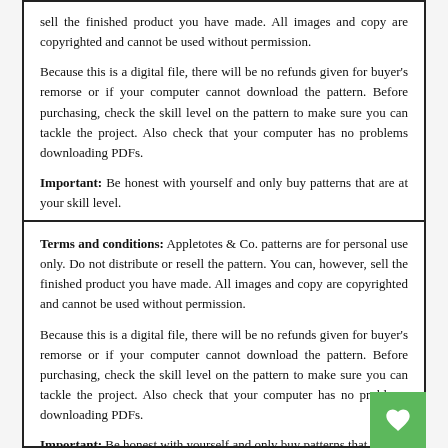sell the finished product you have made. All images and copy are copyrighted and cannot be used without permission.

Because this is a digital file, there will be no refunds given for buyer's remorse or if your computer cannot download the pattern. Before purchasing, check the skill level on the pattern to make sure you can tackle the project. Also check that your computer has no problems downloading PDFs.

Important: Be honest with yourself and only buy patterns that are at your skill level.
Terms and conditions: Appletotes & Co. patterns are for personal use only. Do not distribute or resell the pattern. You can, however, sell the finished product you have made. All images and copy are copyrighted and cannot be used without permission.

Because this is a digital file, there will be no refunds given for buyer's remorse or if your computer cannot download the pattern. Before purchasing, check the skill level on the pattern to make sure you can tackle the project. Also check that your computer has no problems downloading PDFs.

Important: Be honest with yourself and only buy patterns that are at your skill level.